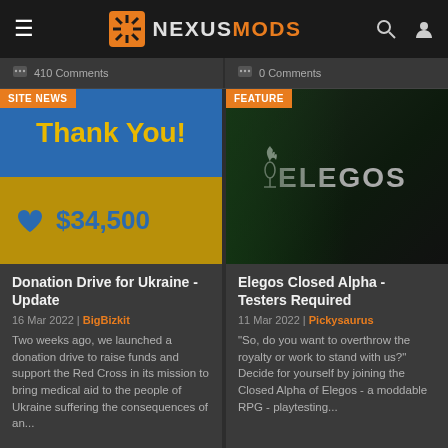NEXUSMODS
410 Comments
0 Comments
[Figure (screenshot): Card image for Donation Drive Ukraine: blue and gold/yellow split background with 'Thank You!' in large gold text and '$34,500' in blue text with heart icon. SITE NEWS badge in orange top-left.]
Donation Drive for Ukraine - Update
16 Mar 2022  |  BigBizkit
Two weeks ago, we launched a donation drive to raise funds and support the Red Cross in its mission to bring medical aid to the people of Ukraine suffering the consequences of an...
[Figure (screenshot): Card image for Elegos Closed Alpha showing game artwork with a woman character and the ELEGOS logo with torch/flame icon on dark background. FEATURE badge in orange top-left.]
Elegos Closed Alpha - Testers Required
11 Mar 2022  |  Pickysaurus
"So, do you want to overthrow the royalty or work to stand with us?" Decide for yourself by joining the Closed Alpha of Elegos - a moddable RPG - playtesting...